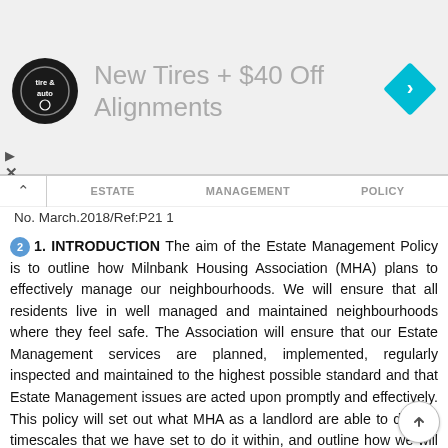[Figure (other): Advertisement banner: tire and auto service logo on left, text 'New Tires + $40 Off Alignments' in grey, blue diamond direction icon on right]
ESTATE   MANAGEMENT   POLICY
No. March.2018/Ref:P21 1
1. INTRODUCTION The aim of the Estate Management Policy is to outline how Milnbank Housing Association (MHA) plans to effectively manage our neighbourhoods. We will ensure that all residents live in well managed and maintained neighbourhoods where they feel safe. The Association will ensure that our Estate Management services are planned, implemented, regularly inspected and maintained to the highest possible standard and that Estate Management issues are acted upon promptly and effectively. This policy will set out what MHA as a landlord are able to do, the timescales that we have set to do it within, and outline how we will work in partnership with external agencies for other issues that are out-with our direct control. The term Estate Management refers to both tenancy management and neighbourhood